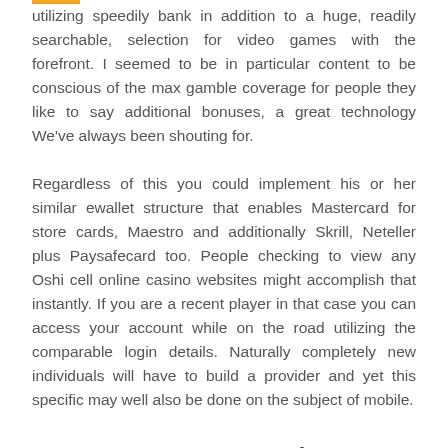utilizing speedily bank in addition to a huge, readily searchable, selection for video games with the forefront. I seemed to be in particular content to be conscious of the max gamble coverage for people they like to say additional bonuses, a great technology We've always been shouting for.
Regardless of this you could implement his or her similar ewallet structure that enables Mastercard for store cards, Maestro and additionally Skrill, Neteller plus Paysafecard too. People checking to view any Oshi cell online casino websites might accomplish that instantly. If you are a recent player in that case you can access your account while on the road utilizing the comparable login details. Naturally completely new individuals will have to build a provider and yet this specific may well also be done on the subject of mobile.
Any Internet marketer Method Regarding Oshi